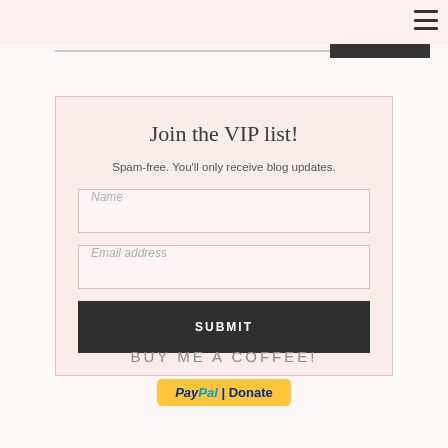[Figure (screenshot): Top navigation bar with hamburger menu icon and horizontal divider lines]
Join the VIP list!
Spam-free. You'll only receive blog updates.
[Figure (screenshot): Name input field with italic placeholder text 'Name']
[Figure (screenshot): Email address input field with italic placeholder text 'Email address']
[Figure (screenshot): Dark submit button with text 'SUBMIT']
BUY ME A COFFEE!
[Figure (screenshot): PayPal Donate button partially visible at bottom]